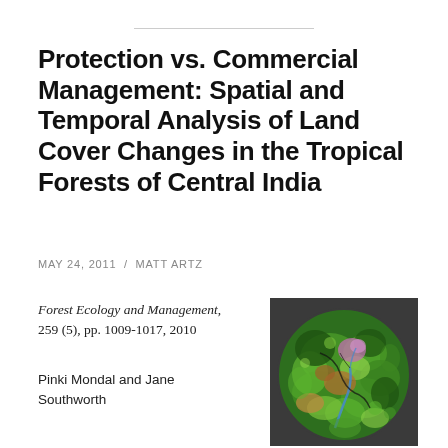Protection vs. Commercial Management: Spatial and Temporal Analysis of Land Cover Changes in the Tropical Forests of Central India
MAY 24, 2011 / MATT ARTZ
Forest Ecology and Management, 259 (5), pp. 1009-1017, 2010
Pinki Mondal and Jane Southworth
[Figure (map): Satellite/remote sensing false-color map image showing tropical forest land cover in Central India, circular cropped, with green dominant colors representing forest cover, brown/orange areas for cleared land, pink/purple patches, and a dark background border]